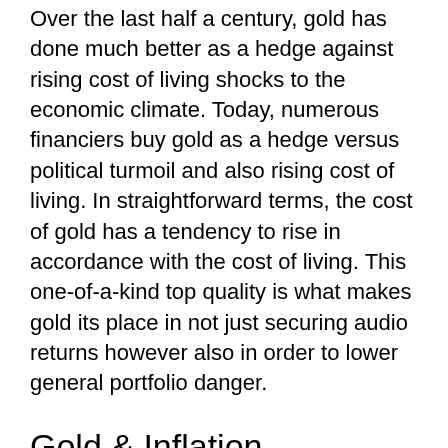Over the last half a century, gold has done much better as a hedge against rising cost of living shocks to the economic climate. Today, numerous financiers buy gold as a hedge versus political turmoil and also rising cost of living. In straightforward terms, the cost of gold has a tendency to rise in accordance with the cost of living. This one-of-a-kind top quality is what makes gold its place in not just securing audio returns however also in order to lower general portfolio danger.
Gold & Inflation
Theoretically, if the buck declines from the impacts of rising cost of living, gold ends up being a lot more pricey. The owner of gold, as a result, is 'hedged' against the dropping dollar. Inflation also generally means...